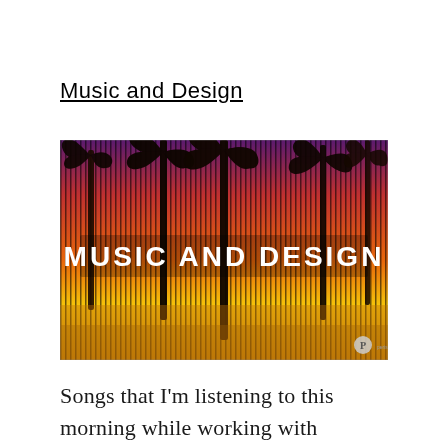Music and Design
[Figure (photo): A colorful tropical sunset scene with palm trees silhouetted against a vivid orange, red, and purple sky. The image has a vertical stripe/lenticular effect. White blocky text across the center reads 'MUSIC AND DESIGN'. A small logo appears in the bottom right corner.]
Songs that I'm listening to this morning while working with